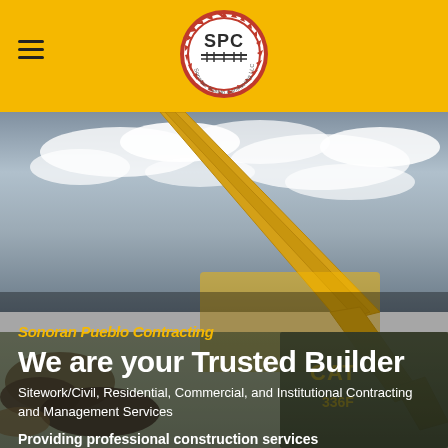[Figure (logo): SPC — Sonoran Pueblo Contracting LLC circular logo with red border and gear-like edge, centered in yellow header bar]
[Figure (photo): Hero photo of a yellow CAT excavator arm against a cloudy sky, with construction debris in foreground. CAT 336F machine visible in lower right.]
Sonoran Pueblo Contracting
We are your Trusted Builder
Sitework/Civil, Residential, Commercial, and Institutional Contracting and Management Services
Providing professional construction services